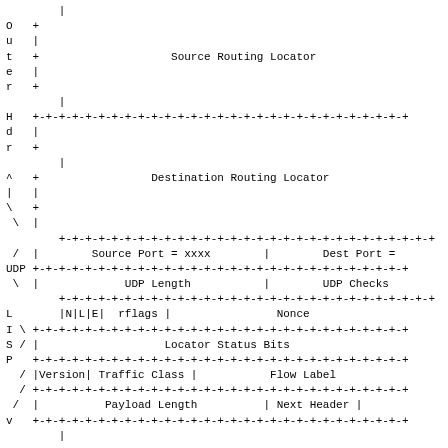[Figure (schematic): Network packet encapsulation diagram showing Outer Header fields including Source Routing Locator, Destination Routing Locator, UDP fields (Source Port, Dest Port, UDP Length, UDP Checksum), LISP fields (N|L|E flags, rflags, Nonce, Locator Status Bits), and IPv6 inner header fields (Version, Traffic Class, Flow Label, Payload Length, Next Header). Labels on left side include Outer, Hdr, UDP, LISP P, and v.]